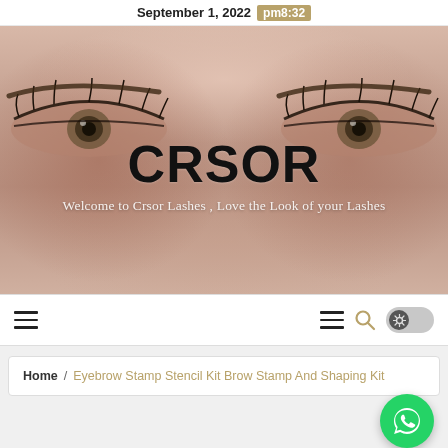September 1, 2022  pm8:32
[Figure (photo): Close-up photo of a woman's eyes with dramatic lashes and brows, used as hero banner background. Overlaid with CRSOR brand name and tagline.]
CRSOR
Welcome to Crsor Lashes , Love the Look of your Lashes
[Figure (other): Navigation bar with hamburger menu icon on left, hamburger icon, search icon (magnifying glass in gold), and a toggle/settings button on right]
Home / Eyebrow Stamp Stencil Kit Brow Stamp And Shaping Kit
[Figure (other): WhatsApp floating action button, green circle with phone/chat icon]